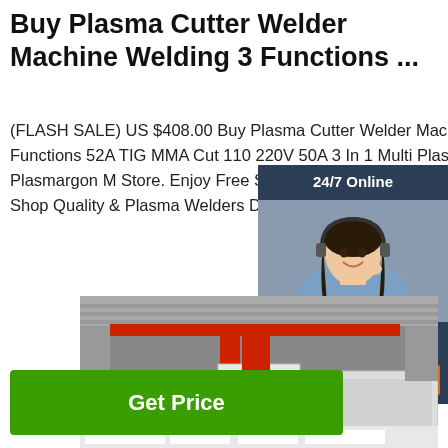Buy Plasma Cutter Welder Machine Welding 3 Functions ...
(FLASH SALE) US $408.00 Buy Plasma Cutter Welder Machine Welding 3 Functions 52A TIG MMA Cut 110 220V 50A 3 In 1 Multi Plasma Cutter From Seller Plasmargon M Store. Enjoy Free Shipping Worldwide! L Time Sale Easy Return. Shop Quality & Plasma Welders Directly From China Plasma Welders Suppliers.
[Figure (photo): Customer service representative woman with headset, shown in a 24/7 Online chat widget with dark blue background. Includes 'Click here for free chat!' text and orange QUOTATION button.]
[Figure (photo): Industrial machinery photo showing large equipment in a factory or warehouse setting, with red components visible.]